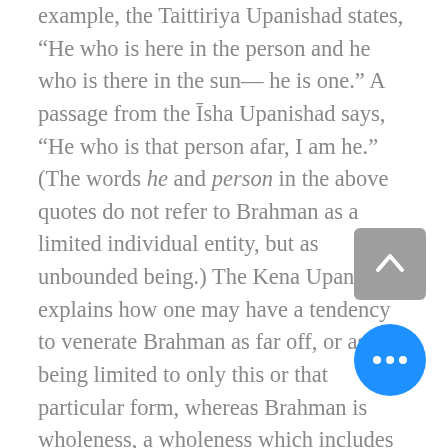example, the Taittiriya Upanishad states, “He who is here in the person and he who is there in the sun— he is one.” A passage from the īsha Upanishad says, “He who is that person afar, I am he.”  (The words he and person in the above quotes do not refer to Brahman as a limited individual entity, but as unbounded being.) The Kena Upanishad explains how one may have a tendency to venerate Brahman as far off, or as being limited to only this or that particular form, whereas Brahman is wholeness, a wholeness which includes the person who is doing the venerating: That which is not uttered by speech, but by which speech is spoken— that alone know to be Brahman, not what people venerate
[Figure (other): Gray rounded-square scroll-to-top button with upward chevron arrow icon]
[Figure (other): Blue circular more-options button with three horizontal dots]